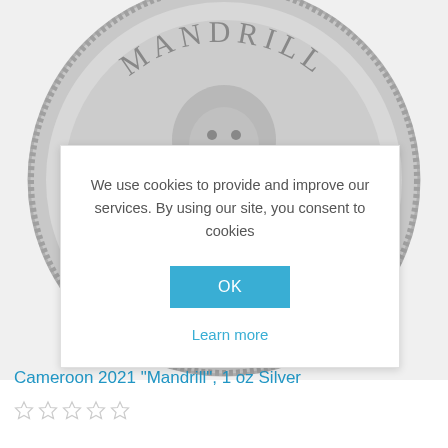[Figure (photo): Silver coin featuring a mandrill portrait with 'MANDRILL' text engraved at top and '.999' marking visible]
We use cookies to provide and improve our services. By using our site, you consent to cookies
OK
Learn more
Cameroon 2021 "Mandrill", 1 oz Silver
[Figure (other): Five empty star rating icons]